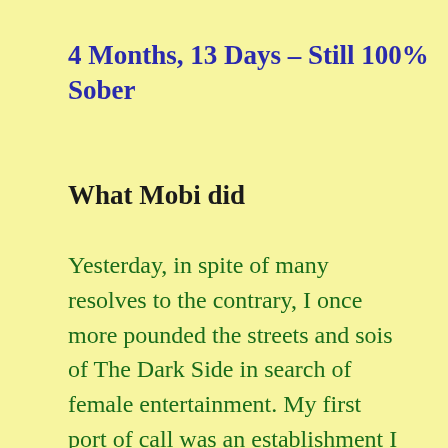4 Months, 13 Days – Still 100% Sober
What Mobi did
Yesterday, in spite of many resolves to the contrary, I once more pounded the streets and sois of The Dark Side in search of female entertainment. My first port of call was an establishment I hadn't tried for quite a while and in spite of my misgivings I was pleasantly surprised to find a good supply of very horny looking ladies, all wearing the shortest black dresses you have ever seen – most of them so